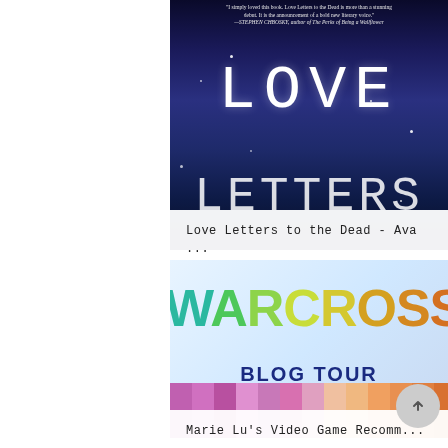[Figure (photo): Book cover of 'Love Letters to the Dead' showing the title in large white letters against a dark blue/navy starry night sky background, with a blurb from Stephen Chbosky at the top]
Love Letters to the Dead - Ava ...
[Figure (photo): Warcross Blog Tour banner image with colorful gradient letters spelling 'WARCROSS' and 'BLOG TOUR' text below on a light blue background with pixel/mosaic blocks at the bottom]
Marie Lu's Video Game Recomm...